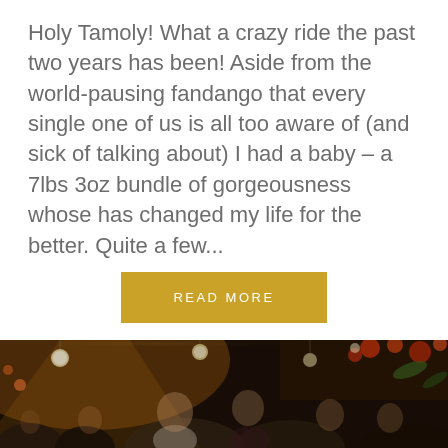Holy Tamoly! What a crazy ride the past two years has been! Aside from the world-pausing fandango that every single one of us is all too aware of (and sick of talking about) I had a baby – a 7lbs 3oz bundle of gorgeousness whose has changed my life for the better. Quite a few...
READ MORE
[Figure (photo): Wedding or celebration party photo showing a couple in the center (woman in white dress with tiara, man in dark velvet jacket) surrounded by smiling guests in a decorated venue with hanging lanterns and autumn leaves]